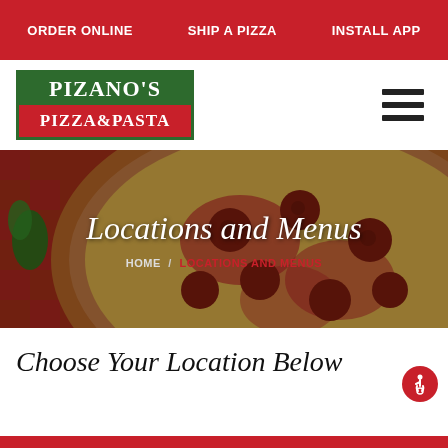ORDER ONLINE   SHIP A PIZZA   INSTALL APP
[Figure (logo): Pizano's Pizza & Pasta logo — green top half with white serif text 'PIZANO'S', red bottom half with white serif text 'PIZZA&PASTA']
[Figure (photo): Close-up hero photo of a pepperoni pizza on a red checkered tablecloth, with a dark overlay. Title 'Locations and Menus' in white italic serif text. Breadcrumb navigation: HOME / LOCATIONS AND MENUS (current in red).]
Choose Your Location Below